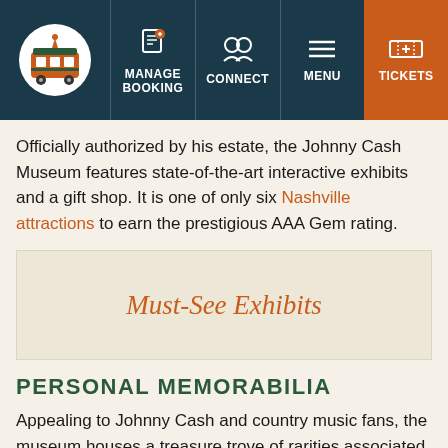MANAGE BOOKING | CONNECT | MENU | TICKETS
Officially authorized by his estate, the Johnny Cash Museum features state-of-the-art interactive exhibits and a gift shop. It is one of only six Nashville attractions to earn the prestigious AAA Gem rating.
Must-See Exhibits
PERSONAL MEMORABILIA
Appealing to Johnny Cash and country music fans, the museum houses a treasure trove of rarities associated with the life and career of the celebrated artist. The expansive collection highlights different periods in his life as it takes you from his humble beginnings as a child on his family's cotton farm to his time at the top of the music charts. Unique pieces include personal letters, vintage